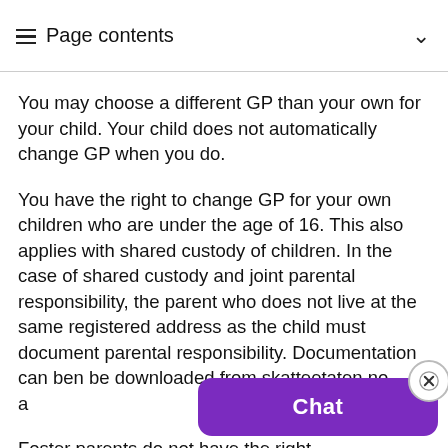Page contents
You may choose a different GP than your own for your child. Your child does not automatically change GP when you do.
You have the right to change GP for your own children who are under the age of 16. This also applies with shared custody of children. In the case of shared custody and joint parental responsibility, the parent who does not live at the same registered address as the child must document parental responsibility. Documentation can be downloaded from skatteetaten.no a…
Foster parents do not have the right… foster children.
[Figure (screenshot): Purple chat widget button with close (X) button overlay in bottom-right corner]